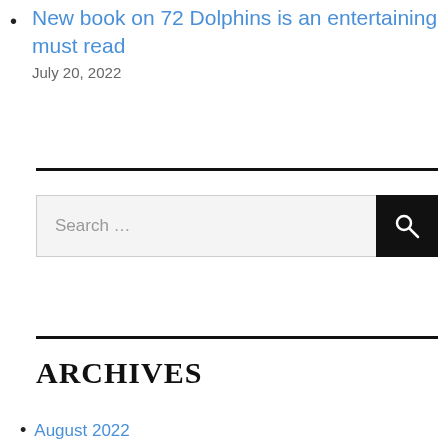New book on 72 Dolphins is an entertaining must read
July 20, 2022
Search …
ARCHIVES
August 2022